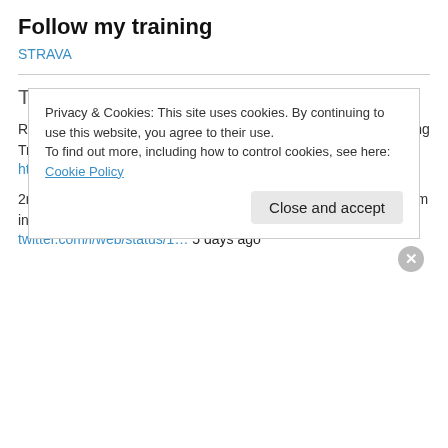Follow my training
STRAVA
TweetTweet
RT @iRunNation: Run like a Wolf to Feed Your Wild: Mind-blowing Trail Races in Canada, and the World irun.ca/index.php/run-… https://t.co/k… 1 day ago
2nd place at Sierre Zinal, Andreu ran 1:02:40 half and 7:52 3000m in 2021. The winner, Mark Kangogo has run 1:02:45… twitter.com/i/web/status/1… 5 days ago
Privacy & Cookies: This site uses cookies. By continuing to use this website, you agree to their use.
To find out more, including how to control cookies, see here: Cookie Policy
Close and accept